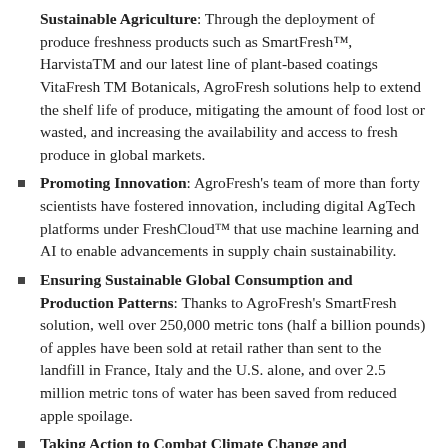Sustainable Agriculture: Through the deployment of produce freshness products such as SmartFresh™, HarvistaTM and our latest line of plant-based coatings VitaFresh TM Botanicals, AgroFresh solutions help to extend the shelf life of produce, mitigating the amount of food lost or wasted, and increasing the availability and access to fresh produce in global markets.
Promoting Innovation: AgroFresh's team of more than forty scientists have fostered innovation, including digital AgTech platforms under FreshCloud™ that use machine learning and AI to enable advancements in supply chain sustainability.
Ensuring Sustainable Global Consumption and Production Patterns: Thanks to AgroFresh's SmartFresh solution, well over 250,000 metric tons (half a billion pounds) of apples have been sold at retail rather than sent to the landfill in France, Italy and the U.S. alone, and over 2.5 million metric tons of water has been saved from reduced apple spoilage.
Taking Action to Combat Climate Change and